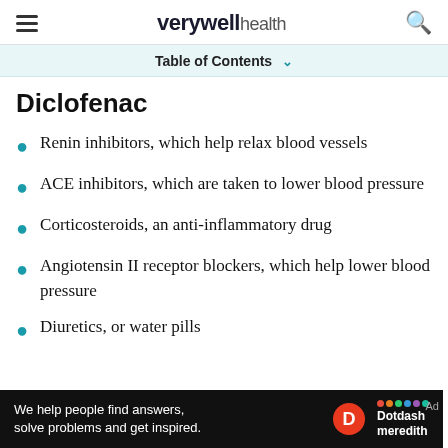verywell health
Table of Contents
Diclofenac
Renin inhibitors, which help relax blood vessels
ACE inhibitors, which are taken to lower blood pressure
Corticosteroids, an anti-inflammatory drug
Angiotensin II receptor blockers, which help lower blood pressure
Diuretics, or water pills
[Figure (other): Dotdash Meredith advertisement banner: 'We help people find answers, solve problems and get inspired.']